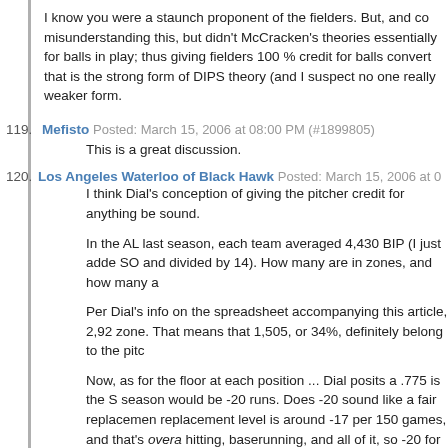I know you were a staunch proponent of the fielders. But, and co misunderstanding this, but didn't McCracken's theories essentially for balls in play; thus giving fielders 100 % credit for balls convert that is the strong form of DIPS theory (and I suspect no one really weaker form.
119. Mefisto Posted: March 15, 2006 at 08:00 PM (#1899805) — This is a great discussion.
120. Los Angeles Waterloo of Black Hawk Posted: March 15, 2006 at 0 — I think Dial's conception of giving the pitcher credit for anything be sound.

In the AL last season, each team averaged 4,430 BIP (I just adde SO and divided by 14). How many are in zones, and how many a

Per Dial's info on the spreadsheet accompanying this article, 2,92 zone. That means that 1,505, or 34%, definitely belong to the pitc

Now, as for the floor at each position ... Dial posits a .775 is the S season would be -20 runs. Does -20 sound like a fair replacemen replacement level is around -17 per 150 games, and that's overal hitting, baserunning, and all of it, so -20 for 162 sounds reasonab require the player to be an above-replacement-level hitter to stay

Going through each position, and (roughly) identifying what ZR co
| Pos | ZROpps | FloorZR | Floor Plays |
| --- | --- | --- | --- |
| 1B | 281 | .780 | 219.18 |
| 2B | 507 | .780 | 395.46 |